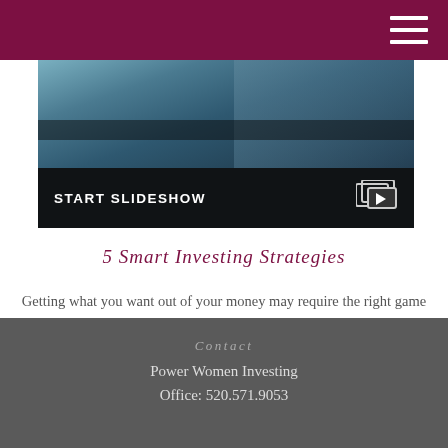[Figure (screenshot): Slideshow thumbnail showing a laptop/tablet with a person working, dark overlay bar at bottom reading START SLIDESHOW with a slideshow icon]
5 Smart Investing Strategies
Getting what you want out of your money may require the right game plan.
Contact
Power Women Investing
Office: 520.571.9053